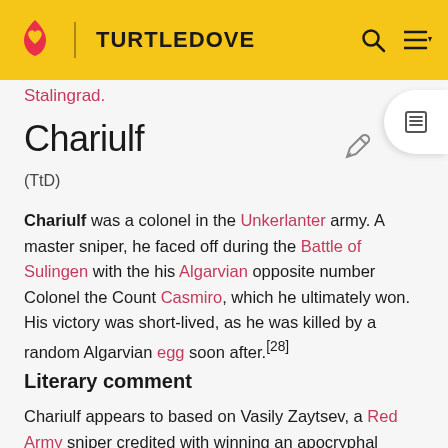TURTLEDOVE
Stalingrad.
Chariulf
(TtD)
Chariulf was a colonel in the Unkerlanter army. A master sniper, he faced off during the Battle of Sulingen with the his Algarvian opposite number Colonel the Count Casmiro, which he ultimately won. His victory was short-lived, as he was killed by a random Algarvian egg soon after.[28]
Literary comment
Chariulf appears to based on Vasily Zaytsev, a Red Army sniper credited with winning an apocryphal "sniper's duel"